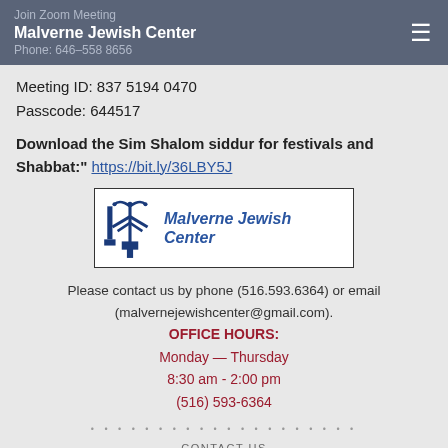Malverne Jewish Center
Phone: 646-558 8656
Meeting ID: 837 5194 0470
Passcode: 644517
Download the Sim Shalom siddur for festivals and Shabbat:" https://bit.ly/36LBY5J
[Figure (logo): Malverne Jewish Center logo with blue menorah/tree icon and text 'Malverne Jewish Center' in blue italic]
Please contact us by phone (516.593.6364) or email (malvernejewishcenter@gmail.com).
OFFICE HOURS:
Monday — Thursday
8:30 am - 2:00 pm
(516) 593-6364
CONTACT US